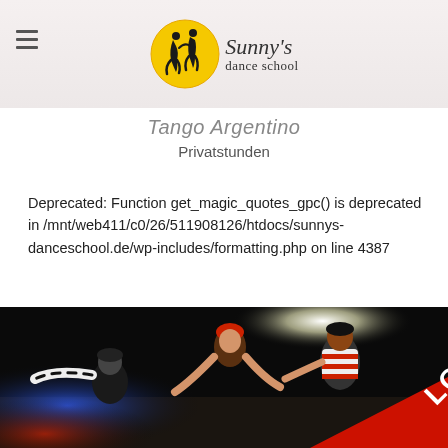Sunny's dance school
Tango Argentino
Privatstunden
Deprecated: Function get_magic_quotes_gpc() is deprecated in /mnt/web411/c0/26/511908126/htdocs/sunnys-danceschool.de/wp-includes/formatting.php on line 4387
[Figure (photo): Three dancers in costumes posing dramatically in a dark setting with stage lighting. Text 'LOCKING' in large white letters on a red diagonal banner in the bottom right corner.]